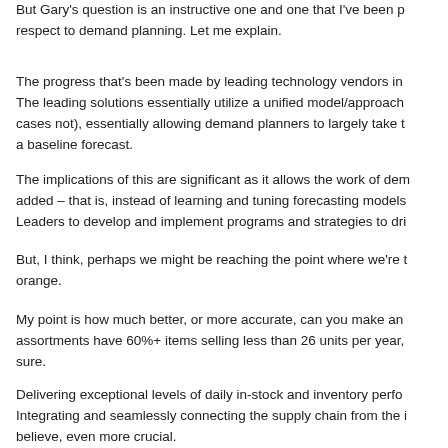But Gary's question is an instructive one and one that I've been p respect to demand planning. Let me explain.
The progress that's been made by leading technology vendors in The leading solutions essentially utilize a unified model/approach cases not), essentially allowing demand planners to largely take t a baseline forecast.
The implications of this are significant as it allows the work of dem added – that is, instead of learning and tuning forecasting models Leaders to develop and implement programs and strategies to dri
But, I think, perhaps we might be reaching the point where we're orange.
My point is how much better, or more accurate, can you make an assortments have 60%+ items selling less than 26 units per year, sure.
Delivering exceptional levels of daily in-stock and inventory perfo Integrating and seamlessly connecting the supply chain from the i believe, even more crucial.